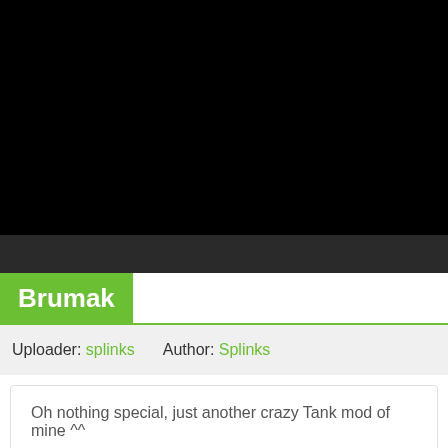[Figure (screenshot): Black video player area with controls bar below]
Brumak
Uploader: splinks    Author: Splinks
Oh nothing special, just another crazy Tank mod of mine ^^